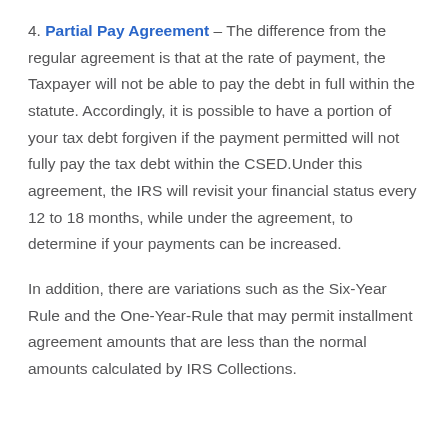4. Partial Pay Agreement – The difference from the regular agreement is that at the rate of payment, the Taxpayer will not be able to pay the debt in full within the statute. Accordingly, it is possible to have a portion of your tax debt forgiven if the payment permitted will not fully pay the tax debt within the CSED.Under this agreement, the IRS will revisit your financial status every 12 to 18 months, while under the agreement, to determine if your payments can be increased.
In addition, there are variations such as the Six-Year Rule and the One-Year-Rule that may permit installment agreement amounts that are less than the normal amounts calculated by IRS Collections.